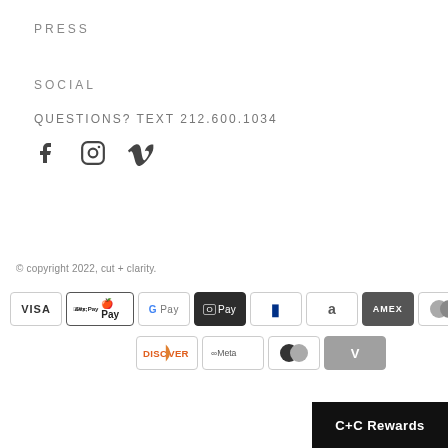PRESS
SOCIAL
QUESTIONS? TEXT 212.600.1034
[Figure (illustration): Social media icons: Facebook (f), Instagram (camera icon), Vimeo (v)]
© copyright 2022, cut + clarity.
[Figure (illustration): Payment method badges: VISA, Apple Pay, G Pay, O Pay (AfterPay), PayPal, Amazon, AMEX, Diners Club, Discover, Meta, Shop Pay, Venmo]
C+C Rewards